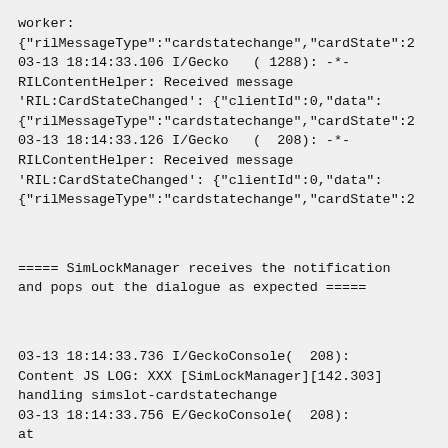worker:
{"rilMessageType":"cardstatechange","cardState":2
03-13 18:14:33.106 I/Gecko   ( 1288): -*-
RILContentHelper: Received message
'RIL:CardStateChanged': {"clientId":0,"data":
{"rilMessageType":"cardstatechange","cardState":2
03-13 18:14:33.126 I/Gecko   (  208): -*-
RILContentHelper: Received message
'RIL:CardStateChanged': {"clientId":0,"data":
{"rilMessageType":"cardstatechange","cardState":2
===== SimLockManager receives the notification
and pops out the dialogue as expected =====
03-13 18:14:33.736 I/GeckoConsole(  208):
Content JS LOG: XXX [SimLockManager][142.303]
handling simslot-cardstatechange
03-13 18:14:33.756 E/GeckoConsole(  208):
at
SimLockSystemDialog.prototype.handleCardState/rec